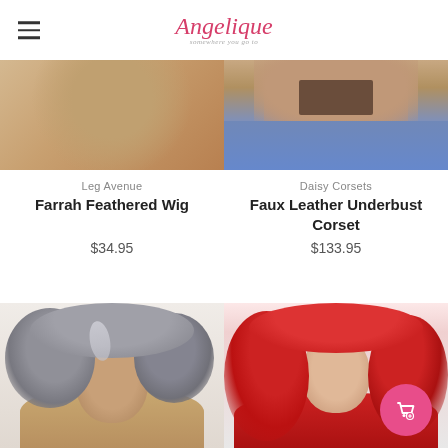Angelique
[Figure (photo): Partial view of a woman wearing a feathered wig, peachy/golden hair, torso cropped]
[Figure (photo): Partial view of a woman wearing a faux leather underbust corset with jeans]
Leg Avenue
Farrah Feathered Wig
$34.95
Daisy Corsets
Faux Leather Underbust Corset
$133.95
[Figure (photo): Woman modeling a gray curly voluminous wig]
[Figure (photo): Woman modeling a long vibrant red wig, wearing red outfit]